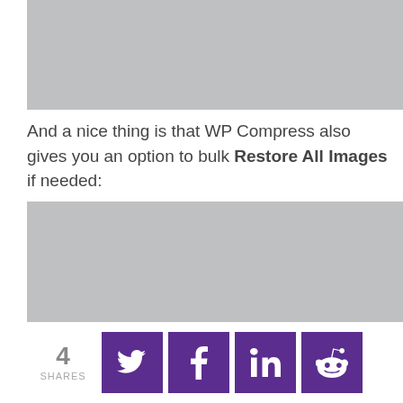[Figure (screenshot): Gray placeholder image at top of page]
And a nice thing is that WP Compress also gives you an option to bulk Restore All Images if needed:
[Figure (screenshot): Gray placeholder image showing Restore All Images option]
4 SHARES — social share buttons for Twitter, Facebook, LinkedIn, Reddit